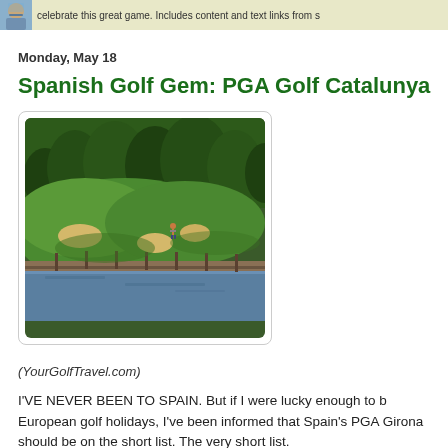celebrate this great game. Includes content and text links from s
Monday, May 18
Spanish Golf Gem: PGA Golf Catalunya
[Figure (photo): Aerial/ground view of a golf course with lush green fairways, sand bunkers, a water hazard, and trees in the background. A golfer is visible on the course.]
(YourGolfTravel.com)
I'VE NEVER BEEN TO SPAIN. But if I were lucky enough to b European golf holidays, I've been informed that Spain's PGA Girona should be on the short list. The very short list.
The site of the recent Spanish Open, PGA Golf Catalunya's S was ranked No. 3 in Europe by Golf Monthly.